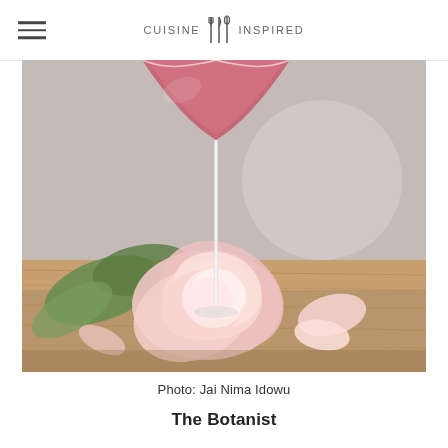CUISINE INSPIRED
[Figure (photo): A pink cocktail in a coupe glass surrounded by a large pink peony flower with scattered petals on a wooden surface. The glass stem is visible through the flower petals. Shallow depth of field with a blurred grey background.]
Photo: Jai Nima Idowu
The Botanist